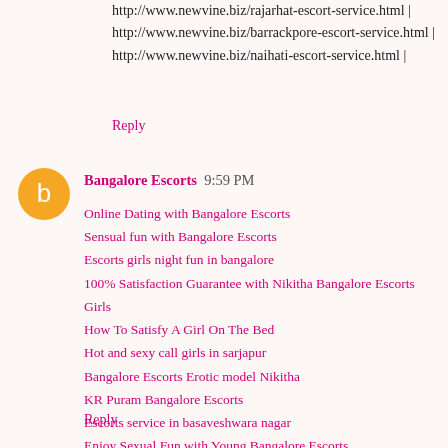http://www.newvine.biz/rajarhat-escort-service.html | http://www.newvine.biz/barrackpore-escort-service.html | http://www.newvine.biz/naihati-escort-service.html |
Reply
Bangalore Escorts  9:59 PM
Online Dating with Bangalore Escorts
Sensual fun with Bangalore Escorts
Escorts girls night fun in bangalore
100% Satisfaction Guarantee with Nikitha Bangalore Escorts Girls
How To Satisfy A Girl On The Bed
Hot and sexy call girls in sarjapur
Bangalore Escorts Erotic model Nikitha
KR Puram Bangalore Escorts
Escorts service in basaveshwara nagar
Enjoy Sexual Fun with Young Bangalore Escorts
Bangalore Escorts
Reply